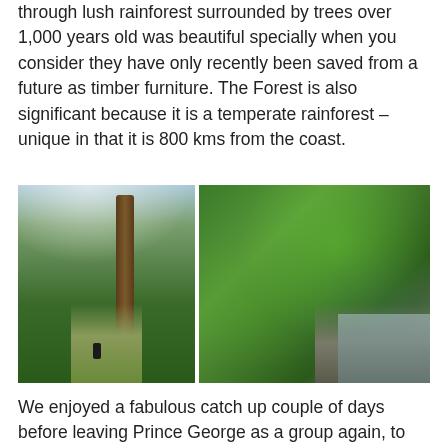through lush rainforest surrounded by trees over 1,000 years old was beautiful specially when you consider they have only recently been saved from a future as timber furniture. The Forest is also significant because it is a temperate rainforest – unique in that it is 800 kms from the coast.
[Figure (photo): Two side-by-side forest photographs. Left: tall ancient trees with a hiker on a path below, light filtering through the canopy. Right: lush green rainforest with ferns, moss-covered rocks, and a stream.]
We enjoyed a fabulous catch up couple of days before leaving Prince George as a group again, to head further west along the Yellowhead Highway